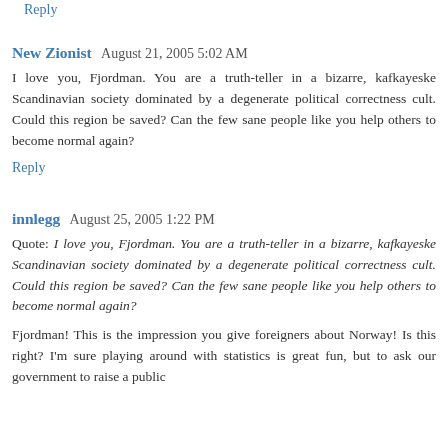Reply
New Zionist   August 21, 2005 5:02 AM
I love you, Fjordman. You are a truth-teller in a bizarre, kafkayeske Scandinavian society dominated by a degenerate political correctness cult. Could this region be saved? Can the few sane people like you help others to become normal again?
Reply
innlegg   August 25, 2005 1:22 PM
Quote: I love you, Fjordman. You are a truth-teller in a bizarre, kafkayeske Scandinavian society dominated by a degenerate political correctness cult. Could this region be saved? Can the few sane people like you help others to become normal again?
Fjordman! This is the impression you give foreigners about Norway! Is this right? I'm sure playing around with statistics is great fun, but to ask our government to raise a public